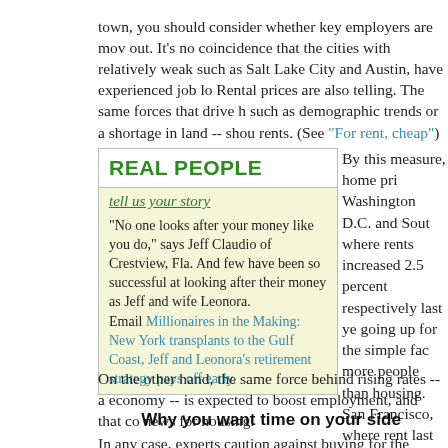town, you should consider whether key employers are moving out. It's no coincidence that the cities with relatively weak job markets, such as Salt Lake City and Austin, have experienced job losses. Rental prices are also telling. The same forces that drive home prices, such as demographic trends or a shortage in land -- should also drive rents. (See "For rent, cheap")
REAL PEOPLE
tell us your story
"No one looks after your money like you do," says Jeff Claudio of Crestview, Fla. And few have been so successful at looking after their money as Jeff and wife Leonora.
Email Millionaires in the Making: New York transplants to the Gulf Coast, Jeff and Leonora's retirement strategy pays off early.
By this measure, home prices in Washington D.C. and Southern California, where rents increased 2.5 percent respectively last year, may be going up for the simple fact that more people than housing. San Francisco, where rents fell last year, may be more precarious. What about interest rates? Mortgage Bankers Association forecast, the 30-year fixed rate will gradually climb to 6.5 percent by 2005. Because higher rates make homes less affordable, prices could fall. (See "Bracing for higher ra..."
On the other hand, the same force behind rising rates -- a strong economy -- is expected to boost employment, and that could be good news for housing.
Why you want time on your side
In any case, experts caution against buying for the simple...